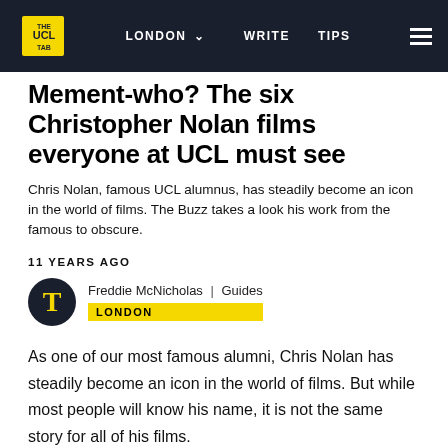THE UCL TAB | LONDON | WRITE | TIPS
Mement-who? The six Christopher Nolan films everyone at UCL must see
Chris Nolan, famous UCL alumnus, has steadily become an icon in the world of films. The Buzz takes a look his work from the famous to obscure.
11 YEARS AGO
Freddie McNicholas | Guides
LONDON
As one of our most famous alumni, Chris Nolan has steadily become an icon in the world of films. But while most people will know his name, it is not the same story for all of his films.